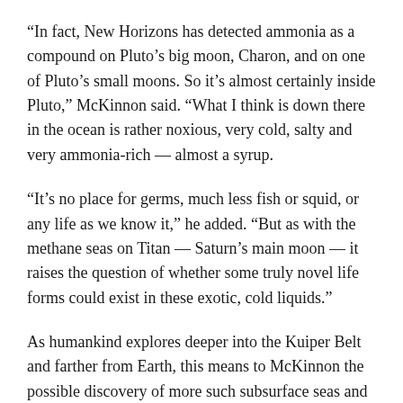“In fact, New Horizons has detected ammonia as a compound on Pluto’s big moon, Charon, and on one of Pluto’s small moons. So it’s almost certainly inside Pluto,” McKinnon said. “What I think is down there in the ocean is rather noxious, very cold, salty and very ammonia-rich — almost a syrup.
“It’s no place for germs, much less fish or squid, or any life as we know it,” he added. “But as with the methane seas on Titan — Saturn’s main moon — it raises the question of whether some truly novel life forms could exist in these exotic, cold liquids.”
As humankind explores deeper into the Kuiper Belt and farther from Earth, this means to McKinnon the possible discovery of more such subsurface seas and more potential for exotic life.
“The idea that bodies of Pluto’s scale, of which there are more